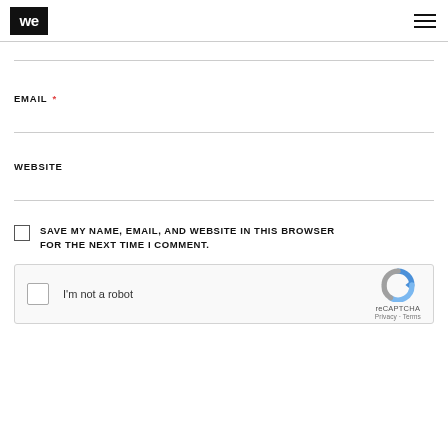[Figure (logo): we logo — white lowercase 'we' text on black square background, with hamburger menu icon on right]
EMAIL *
WEBSITE
SAVE MY NAME, EMAIL, AND WEBSITE IN THIS BROWSER FOR THE NEXT TIME I COMMENT.
[Figure (other): reCAPTCHA widget with checkbox, 'I'm not a robot' label, reCAPTCHA logo, Privacy and Terms links]